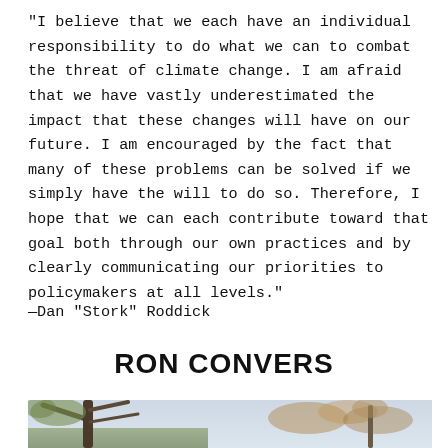“I believe that we each have an individual responsibility to do what we can to combat the threat of climate change. I am afraid that we have vastly underestimated the impact that these changes will have on our future. I am encouraged by the fact that many of these problems can be solved if we simply have the will to do so. Therefore, I hope that we can each contribute toward that goal both through our own practices and by clearly communicating our priorities to policymakers at all levels.”
—Dan “Stork” Roddick
RON CONVERS
[Figure (photo): Outdoor photo showing tree branches with foliage against a light sky background]